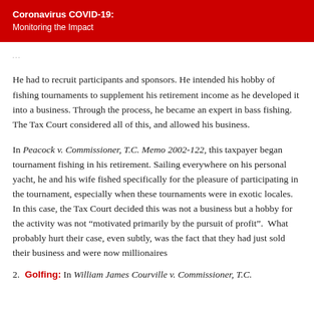Coronavirus COVID-19: Monitoring the Impact
He had to recruit participants and sponsors. He intended his hobby of fishing tournaments to supplement his retirement income as he developed it into a business. Through the process, he became an expert in bass fishing. The Tax Court considered all of this, and allowed his business.
In Peacock v. Commissioner, T.C. Memo 2002-122, this taxpayer began tournament fishing in his retirement. Sailing everywhere on his personal yacht, he and his wife fished specifically for the pleasure of participating in the tournament, especially when these tournaments were in exotic locales. In this case, the Tax Court decided this was not a business but a hobby for the activity was not “motivated primarily by the pursuit of profit”.  What probably hurt their case, even subtly, was the fact that they had just sold their business and were now millionaires...
2. Golfing: In William James Courville v. Commissioner, T.C.